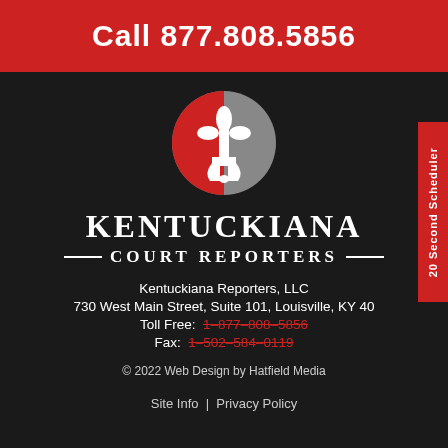Call 877.808.5856
[Figure (logo): Kentuckiana Court Reporters circular logo with fleur-de-lis, half red and half gray]
KENTUCKIANA COURT REPORTERS
Kentuckiana Reporters, LLC
730 West Main Street, Suite 101, Louisville, KY 40
Toll Free: 1-877-808-5856
Fax: 1-502-584-0119
© 2022 Web Design by Hatfield Media
Site Info | Privacy Policy